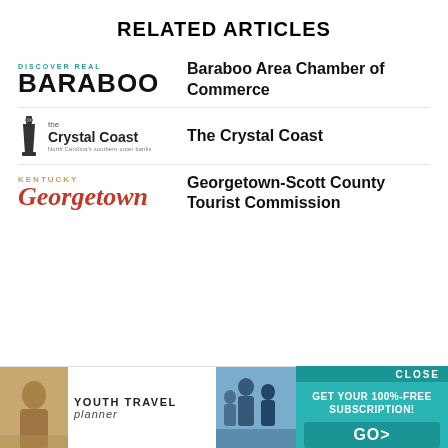RELATED ARTICLES
Baraboo Area Chamber of Commerce
[Figure (logo): Discover Real Baraboo logo with large bold BARABOO text]
The Crystal Coast
[Figure (logo): The Crystal Coast logo with lighthouse icon and North Carolina's southern outer banks tagline]
Georgetown-Scott County Tourist Commission
[Figure (logo): Kentucky Georgetown logo in red italic script with KENTUCKY in gold above]
[Figure (advertisement): Youth Travel Planner ad banner with teal background, CLOSE button, GET YOUR 100%-FREE SUBSCRIPTION! call to action and GO> button]